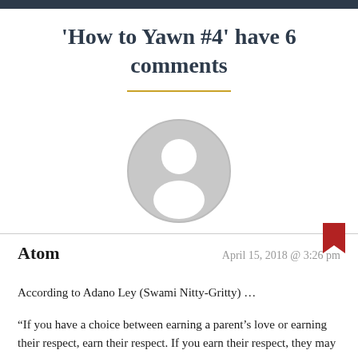'How to Yawn #4' have 6 comments
[Figure (illustration): Generic user avatar: a grey circle containing a white silhouette of a person (head and shoulders).]
Atom
April 15, 2018 @ 3:26 pm
According to Adano Ley (Swami Nitty-Gritty) …
“If you have a choice between earning a parent’s love or earning their respect, earn their respect. If you earn their respect, they may come to love